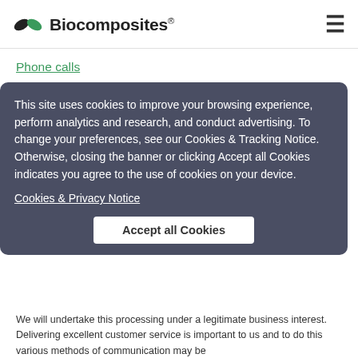Biocomposites®
Phone calls
Phone calls to our business premises are not currently recorded but all phone numbers that make calls to our business premises are traceable within General Data Protection Regulations.
This site uses cookies to improve your browsing experience, perform analytics and research, and conduct advertising. To change your preferences, see our Cookies & Tracking Notice. Otherwise, closing the banner or clicking Accept all Cookies indicates you agree to the use of cookies on your device.
Cookies & Privacy Notice
Accept all Cookies
We will undertake this processing under a legitimate business interest. Delivering excellent customer service is important to us and to do this various methods of communication may be